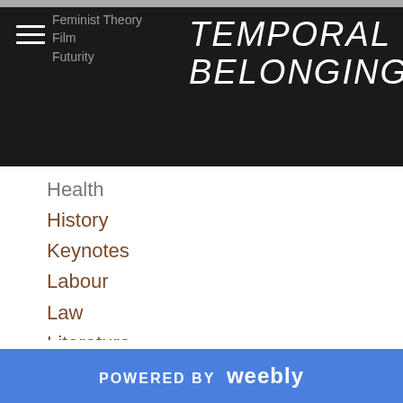TEMPORAL BELONGINGS
Feminist Theory
Film
Futurity
Health
History
Keynotes
Labour
Law
Literature
Media
Migration
Music
Narrative
Philosophy
Political Theory
Post-colonialism
Postcolonial Theory
POWERED BY weebly